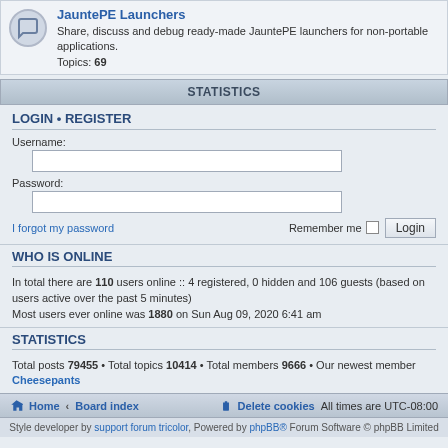JauntePE Launchers — Share, discuss and debug ready-made JauntePE launchers for non-portable applications. Topics: 69
STATISTICS
LOGIN • REGISTER
Username:
Password:
I forgot my password — Remember me — Login
WHO IS ONLINE
In total there are 110 users online :: 4 registered, 0 hidden and 106 guests (based on users active over the past 5 minutes)
Most users ever online was 1880 on Sun Aug 09, 2020 6:41 am
STATISTICS
Total posts 79455 • Total topics 10414 • Total members 9666 • Our newest member Cheesepants
Home • Board index — Delete cookies — All times are UTC-08:00
Style developer by support forum tricolor, Powered by phpBB® Forum Software © phpBB Limited